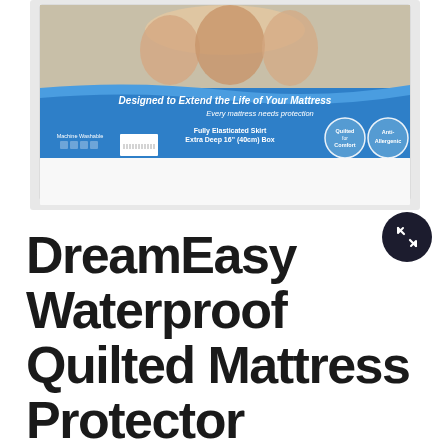[Figure (photo): Product packaging photo of DreamEasy Waterproof Quilted Mattress Protector. The packaging shows a white mattress protector in a plastic bag with a blue banner label reading 'Designed to Extend the Life of Your Mattress', 'Every mattress needs protection', 'Fully Elasticated Skirt Extra Deep 16" (40cm) Box', with circles for 'Quilted for Comfort' and 'Anti-Allergenic'. A family is shown at the top of the packaging. There is an expand/fullscreen icon button in the bottom-right corner of the image area.]
DreamEasy Waterproof Quilted Mattress Protector